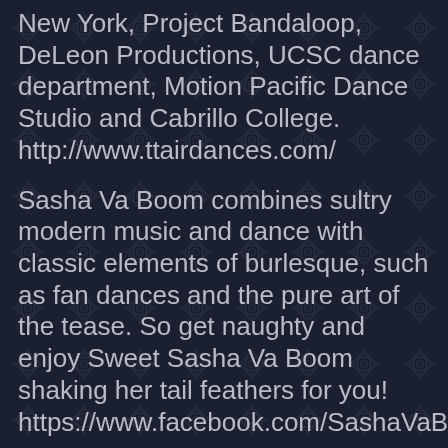New York, Project Bandaloop, DeLeon Productions, UCSC dance department, Motion Pacific Dance Studio and Cabrillo College. http://www.ttairdances.com/
Sasha Va Boom combines sultry modern music and dance with classic elements of burlesque, such as fan dances and the pure art of the tease. So get naughty and enjoy Sweet Sasha Va Boom shaking her tail feathers for you! https://www.facebook.com/SashaVaBoom